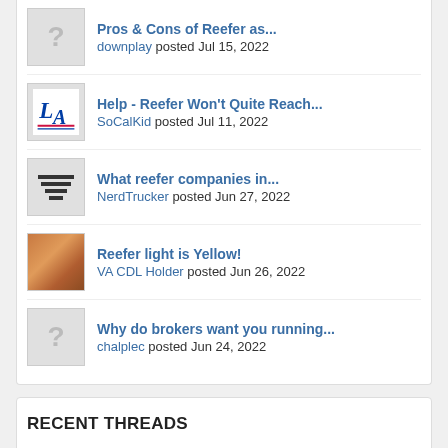Pros & Cons of Reefer as... downplay posted Jul 15, 2022
Help - Reefer Won't Quite Reach... SoCalKid posted Jul 11, 2022
What reefer companies in... NerdTrucker posted Jun 27, 2022
Reefer light is Yellow! VA CDL Holder posted Jun 26, 2022
Why do brokers want you running... chalplec posted Jun 24, 2022
RECENT THREADS
Placarding question. snowez posted Today at 7:40 AM
Driver Forgot To Set The Brakes mjd4277 posted Today at 6:07 AM
Legal/Regulatory - Relocating...